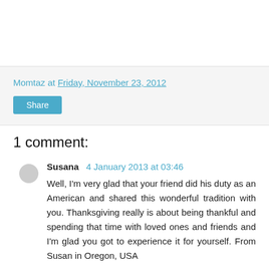Momtaz at Friday, November 23, 2012
Share
1 comment:
Susana 4 January 2013 at 03:46
Well, I'm very glad that your friend did his duty as an American and shared this wonderful tradition with you. Thanksgiving really is about being thankful and spending that time with loved ones and friends and I'm glad you got to experience it for yourself. From Susan in Oregon, USA
Reply